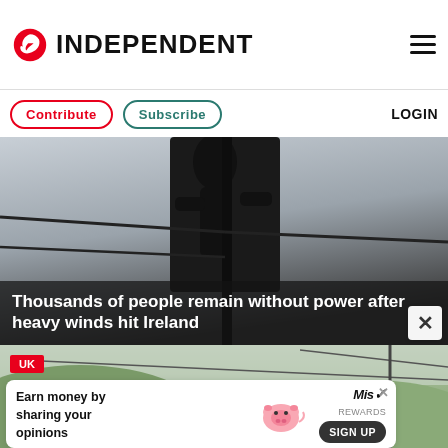INDEPENDENT
Contribute  Subscribe  LOGIN
[Figure (photo): Silhouette of a person on a structure against a grey cloudy sky]
Thousands of people remain without power after heavy winds hit Ireland
[Figure (photo): UK: Flooded rural road or stream cutting through green hills with power lines visible]
Earn money by sharing your opinions  SIGN UP